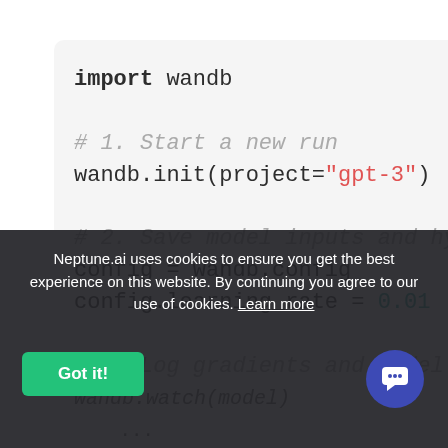[Figure (screenshot): Code editor screenshot showing Python code using wandb library with syntax highlighting. Shows import statement, wandb.init with project='gpt-3', config assignment, and config.learning_rate = 0.01, plus partially visible comments.]
Neptune.ai uses cookies to ensure you get the best experience on this website. By continuing you agree to our use of cookies. Learn more
Got it!